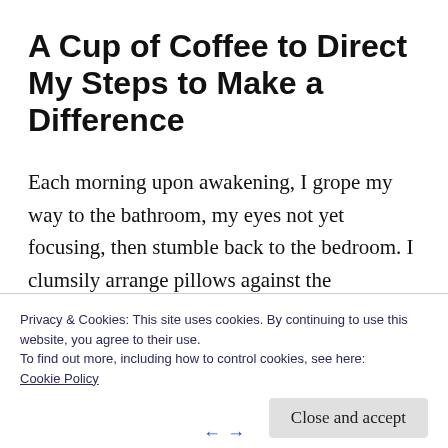A Cup of Coffee to Direct My Steps to Make a Difference
Each morning upon awakening, I grope my way to the bathroom, my eyes not yet focusing, then stumble back to the bedroom. I clumsily arrange pillows against the headboard into a comfortable place to sit while I coax my eyes
Privacy & Cookies: This site uses cookies. By continuing to use this website, you agree to their use.
To find out more, including how to control cookies, see here:
Cookie Policy